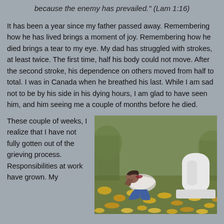because the enemy has prevailed." (Lam 1:16)
It has been a year since my father passed away. Remembering how he has lived brings a moment of joy. Remembering how he died brings a tear to my eye. My dad has struggled with strokes, at least twice. The first time, half his body could not move. After the second stroke, his dependence on others moved from half to total. I was in Canada when he breathed his last. While I am sad not to be by his side in his dying hours, I am glad to have seen him, and him seeing me a couple of months before he died.
These couple of weeks, I realize that I have not fully gotten out of the grieving process. Responsibilities at work have grown. My
[Figure (photo): A woman kneeling at a gravestone in a cemetery covered with autumn leaves, bowing her head into her hands in grief. A white gravestone is visible to the right.]